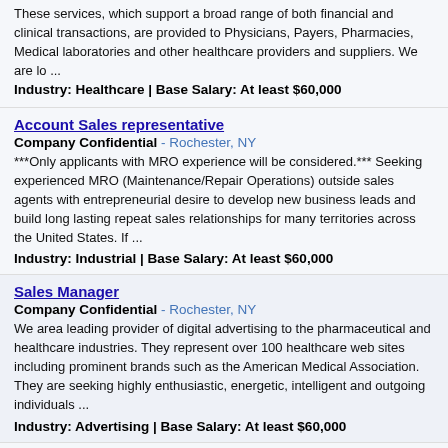These services, which support a broad range of both financial and clinical transactions, are provided to Physicians, Payers, Pharmacies, Medical laboratories and other healthcare providers and suppliers. We are lo ...
Industry: Healthcare | Base Salary: At least $60,000
Account Sales representative
Company Confidential - Rochester, NY
***Only applicants with MRO experience will be considered.*** Seeking experienced MRO (Maintenance/Repair Operations) outside sales agents with entrepreneurial desire to develop new business leads and build long lasting repeat sales relationships for many territories across the United States. If ...
Industry: Industrial | Base Salary: At least $60,000
Sales Manager
Company Confidential - Rochester, NY
We area leading provider of digital advertising to the pharmaceutical and healthcare industries. They represent over 100 healthcare web sites including prominent brands such as the American Medical Association. They are seeking highly enthusiastic, energetic, intelligent and outgoing individuals ...
Industry: Advertising | Base Salary: At least $60,000
Business Development